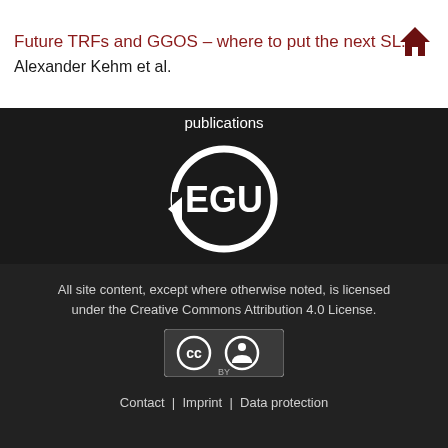Future TRFs and GGOS – where to put the next SL...
Alexander Kehm et al.
publications
[Figure (logo): EGU (European Geosciences Union) circular logo in white on dark background]
[Figure (logo): Copernicus Publications logo with text 'The Innovative Open Access Publisher' in white on dark background]
All site content, except where otherwise noted, is licensed under the Creative Commons Attribution 4.0 License.
[Figure (logo): Creative Commons Attribution (CC BY) license badge]
Contact  |  Imprint  |  Data protection